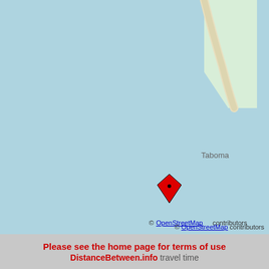[Figure (map): OpenStreetMap showing Taboma location. Light blue water area covers most of the map. Upper right shows light green land area with a curved shoreline/road in beige. A red diamond-shaped map pin marker is placed at approximately center-left of the image, slightly below the label 'Taboma'. The map has a stepped rectangular boundary on the right side.]
© OpenStreetMap contributors
Please see the home page for terms of use
DistanceBetween.info travel time